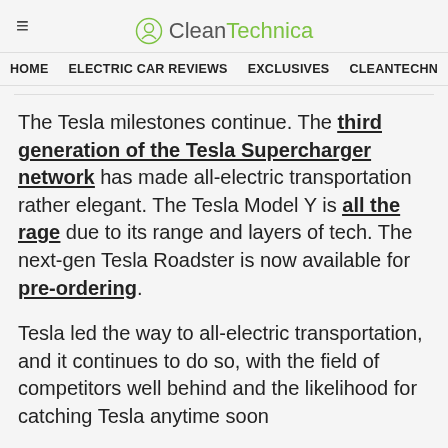CleanTechnica
HOME | ELECTRIC CAR REVIEWS | EXCLUSIVES | CLEANTECHN
The Tesla milestones continue. The third generation of the Tesla Supercharger network has made all-electric transportation rather elegant. The Tesla Model Y is all the rage due to its range and layers of tech. The next-gen Tesla Roadster is now available for pre-ordering.
Tesla led the way to all-electric transportation, and it continues to do so, with the field of competitors well behind and the likelihood for catching Tesla anytime soon